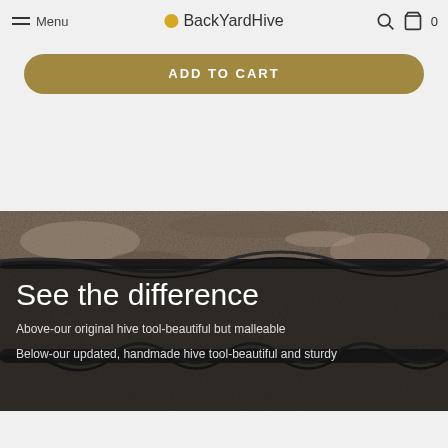Menu | BackYardHive | [search] [cart] 0
ADD TO CART
[Figure (photo): Two twisted metal hive tools resting on a granite/stone surface. The upper tool is the original hive tool, and the lower is the updated handmade hive tool. Both are dark/black metal with twisted designs. A semi-transparent dark overlay covers part of the image with text.]
See the difference
Above-our original hive tool-beautiful but malleable
Below-our updated, handmade hive tool-beautiful and sturdy